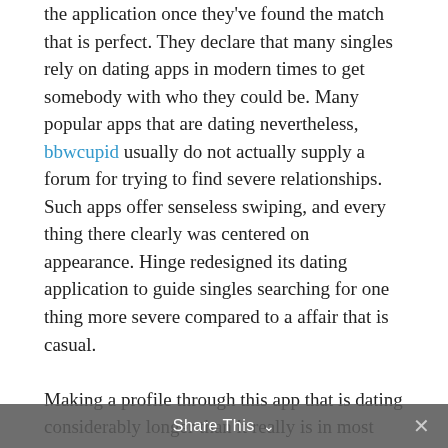the application once they've found the match that is perfect. They declare that many singles rely on dating apps in modern times to get somebody with who they could be. Many popular apps that are dating nevertheless, bbwcupid usually do not actually supply a forum for trying to find severe relationships. Such apps offer senseless swiping, and every thing there clearly was centered on appearance. Hinge redesigned its dating application to guide singles searching for one thing more severe compared to a affair that is casual.

Making a profile through this app that is dating considerably longer than it really is in most dating apps. The reason being Hinge happens
Share This ∨  ✕